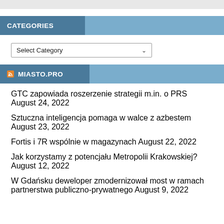CATEGORIES
Select Category
MIASTO.PRO
GTC zapowiada roszerzenie strategii m.in. o PRS August 24, 2022
Sztuczna inteligencja pomaga w walce z azbestem August 23, 2022
Fortis i 7R wspólnie w magazynach August 22, 2022
Jak korzystamy z potencjału Metropolii Krakowskiej? August 12, 2022
W Gdańsku deweloper zmodernizował most w ramach partnerstwa publiczno-prywatnego August 9, 2022